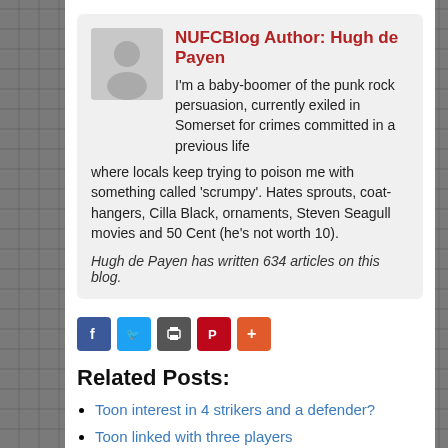NUFCBlog Author: Hugh de Payen
I'm a baby-boomer of the punk rock persuasion, currently exiled in Somerset for crimes committed in a previous life where locals keep trying to poison me with something called 'scrumpy'. Hates sprouts, coat-hangers, Cilla Black, ornaments, Steven Seagull movies and 50 Cent (he's not worth 10).
Hugh de Payen has written 634 articles on this blog.
[Figure (other): Social sharing buttons: Facebook, Twitter, Print, Pinterest, More]
Related Posts:
Toon interest in 4 strikers and a defender?
Toon linked with three players
Deadline day and Papiss Demba Cisse leads the rumours
Rumours from across The Channel: Toon pursue two more French strikers
Sochaux to complain to UEFA about Toon's